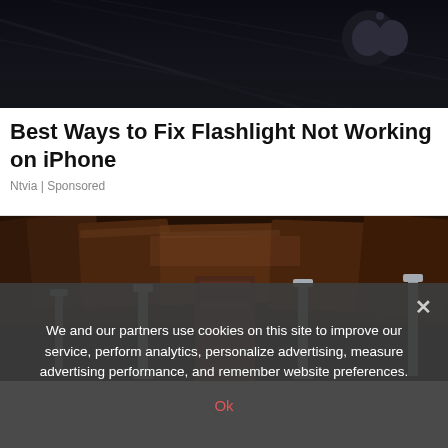[Figure (photo): Dark overhead photo showing what appears to be the back of an iPhone or Apple device with a dark background and Apple logo visible]
Best Ways to Fix Flashlight Not Working on iPhone
Ntvia | Sponsored
[Figure (photo): Interior crawl space or basement photo showing wooden beams overhead and metal support posts with brick columns]
We and our partners use cookies on this site to improve our service, perform analytics, personalize advertising, measure advertising performance, and remember website preferences.
Ok